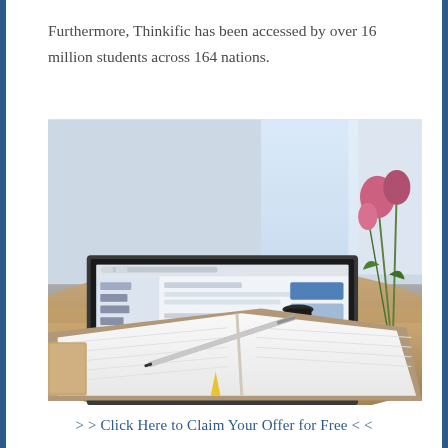Furthermore, Thinkific has been accessed by over 16 million students across 164 nations.
[Figure (photo): A laptop with a browser open on a wooden desk in a cafe setting, with an open notebook and pen in the foreground, and a white mug, small flower vase, and dark bottle in the background. Natural light comes from a window behind.]
> > Click Here to Claim Your Offer for Free < <